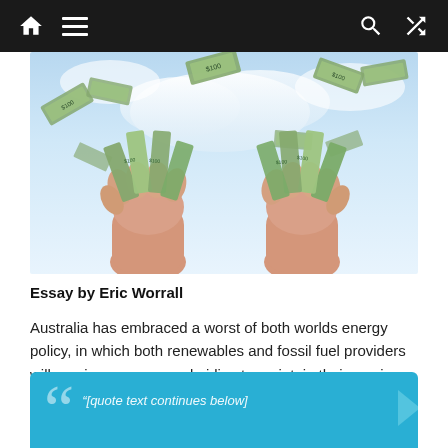Navigation bar with home, menu, search, and shuffle icons
[Figure (photo): Two hands holding fans of US dollar bills against a blue sky background with money bills flying in the air]
Essay by Eric Worrall
Australia has embraced a worst of both worlds energy policy, in which both renewables and fossil fuel providers will receive generous subsidies to maintain their services.
"[quote text preview below]